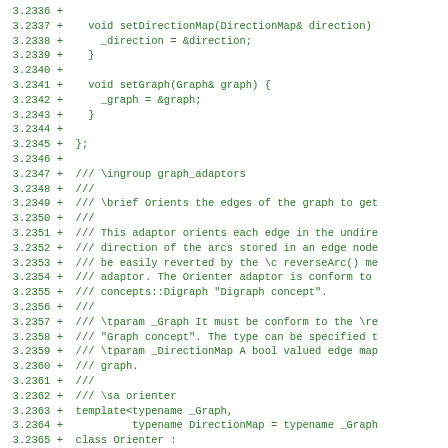[Figure (screenshot): Code diff showing C++ source code lines 3.2336 to 3.2367, green text on white background, showing methods setDirectionMap, setGraph, and class Orienter documentation and template declaration.]